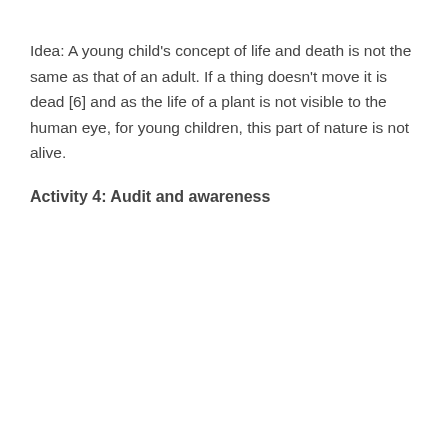Idea: A young child's concept of life and death is not the same as that of an adult. If a thing doesn't move it is dead [6] and as the life of a plant is not visible to the human eye, for young children, this part of nature is not alive.
Activity 4: Audit and awareness